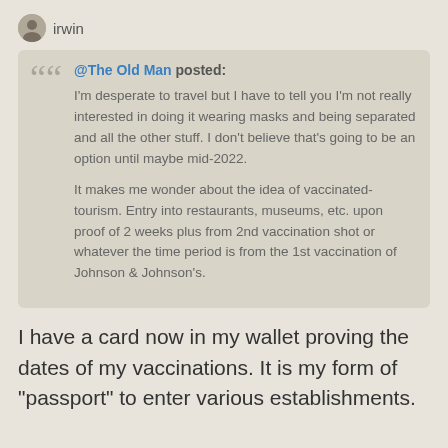irwin
@The Old Man posted: I'm desperate to travel but I have to tell you I'm not really interested in doing it wearing masks and being separated and all the other stuff. I don't believe that's going to be an option until maybe mid-2022.

It makes me wonder about the idea of vaccinated-tourism. Entry into restaurants, museums, etc. upon proof of 2 weeks plus from 2nd vaccination shot or whatever the time period is from the 1st vaccination of Johnson & Johnson's.
I have a card now in my wallet proving the dates of my vaccinations.  It is my form of "passport" to enter various establishments.